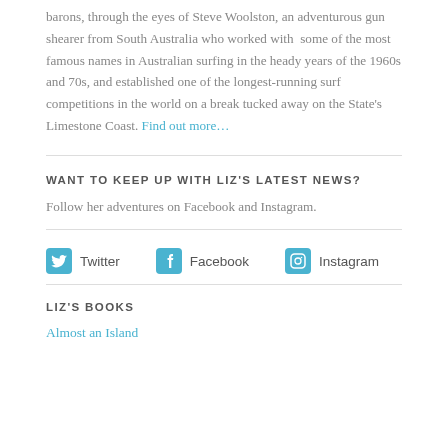barons, through the eyes of Steve Woolston, an adventurous gun shearer from South Australia who worked with some of the most famous names in Australian surfing in the heady years of the 1960s and 70s, and established one of the longest-running surf competitions in the world on a break tucked away on the State's Limestone Coast. Find out more…
WANT TO KEEP UP WITH LIZ'S LATEST NEWS?
Follow her adventures on Facebook and Instagram.
[Figure (infographic): Social media links row with icons for Twitter, Facebook, and Instagram]
LIZ'S BOOKS
Almost an Island